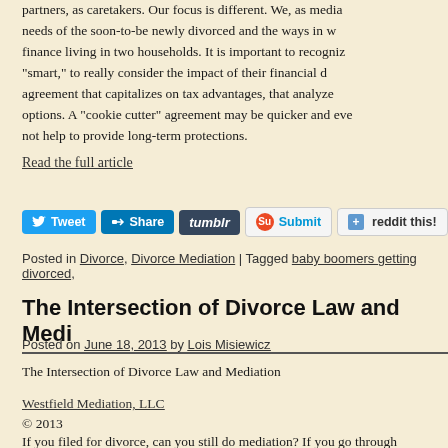partners, as caretakers. Our focus is different. We, as media needs of the soon-to-be newly divorced and the ways in w finance living in two households. It is important to recogniz "smart," to really consider the impact of their financial agreement that capitalizes on tax advantages, that analyze options. A "cookie cutter" agreement may be quicker and eve not help to provide long-term protections.
Read the full article
[Figure (other): Social media sharing buttons: Tweet, Share (LinkedIn), tumblr, Submit (StumbleUpon), reddit this!]
Posted in Divorce, Divorce Mediation | Tagged baby boomers getting divorced,
The Intersection of Divorce Law and Medi
Posted on June 18, 2013 by Lois Misiewicz
The Intersection of Divorce Law and Mediation
Westfield Mediation, LLC
© 2013
If you filed for divorce, can you still do mediation? If you go through